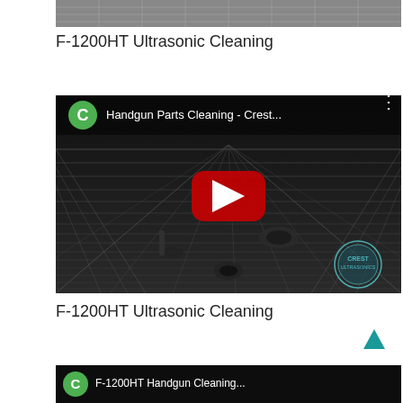[Figure (screenshot): Partial top image (cropped) of a video thumbnail - metallic grid pattern]
F-1200HT Ultrasonic Cleaning
[Figure (screenshot): YouTube video thumbnail showing handgun parts on a metallic mesh grid inside an ultrasonic cleaner. Title bar reads 'Handgun Parts Cleaning - Crest...' with a green C avatar, red YouTube play button in center, and Crest Ultrasonics watermark logo in bottom right.]
F-1200HT Ultrasonic Cleaning
[Figure (screenshot): Partial bottom image (cropped) of another video thumbnail with green C avatar and partial title 'F-1200HT Handgun Cleaning...']